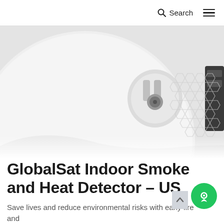Search ☰
[Figure (photo): Close-up photo of a white circular smoke and heat detector device showing its internal mounting hardware, honeycomb-patterned mesh grille, and battery compartment against a light grey background.]
GlobalSat Indoor Smoke and Heat Detector – US
Save lives and reduce environmental risks with early fire and